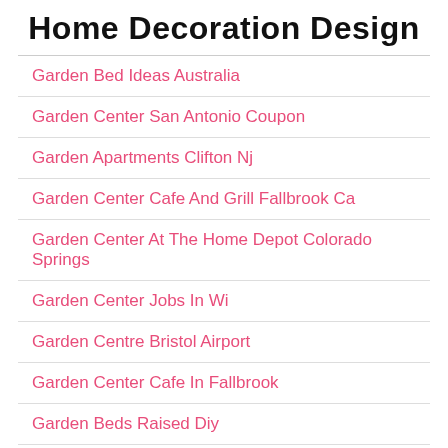Home Decoration Design
Garden Bed Ideas Australia
Garden Center San Antonio Coupon
Garden Apartments Clifton Nj
Garden Center Cafe And Grill Fallbrook Ca
Garden Center At The Home Depot Colorado Springs
Garden Center Jobs In Wi
Garden Centre Bristol Airport
Garden Center Cafe In Fallbrook
Garden Beds Raised Diy
Garden Centre Dublin Delivery
Garden Bollard Lights Bunnings